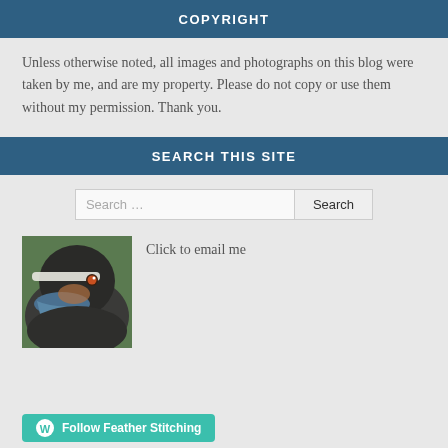COPYRIGHT
Unless otherwise noted, all images and photographs on this blog were taken by me, and are my property. Please do not copy or use them without my permission. Thank you.
SEARCH THIS SITE
Search ...
[Figure (photo): Close-up photo of a duck face, showing dark plumage with white stripe markings and blue bill]
Click to email me
Follow Feather Stitching